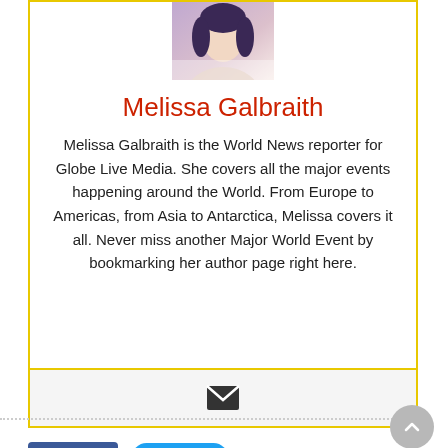[Figure (photo): Portrait photo of Melissa Galbraith, partially visible at top of author card]
Melissa Galbraith
Melissa Galbraith is the World News reporter for Globe Live Media. She covers all the major events happening around the World. From Europe to Americas, from Asia to Antarctica, Melissa covers it all. Never miss another Major World Event by bookmarking her author page right here.
[Figure (infographic): Email envelope icon in social strip below author bio]
[Figure (infographic): Social share buttons: Like 0 (Facebook) and Tweet (Twitter)]